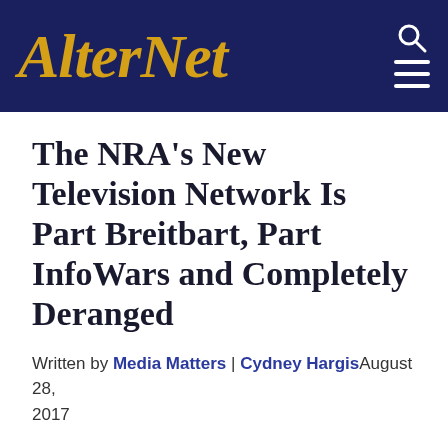AlterNet
The NRA's New Television Network Is Part Breitbart, Part InfoWars and Completely Deranged
Written by Media Matters | Cydney HargisAugust 28, 2017